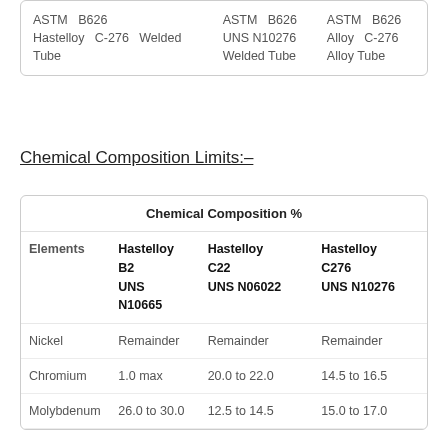|  |  |  |
| --- | --- | --- |
| ASTM B626 Hastelloy C-276 Welded Tube | ASTM B626 UNS N10276 Welded Tube | ASTM B626 Alloy C-276 Alloy Tube |
Chemical Composition Limits:-
| Chemical Composition % |  |  |  |
| --- | --- | --- | --- |
| Elements | Hastelloy B2 UNS N10665 | Hastelloy C22 UNS N06022 | Hastelloy C276 UNS N10276 |
| Nickel | Remainder | Remainder | Remainder |
| Chromium | 1.0 max | 20.0 to 22.0 | 14.5 to 16.5 |
| Molybdenum | 26.0 to 30.0 | 12.5 to 14.5 | 15.0 to 17.0 |